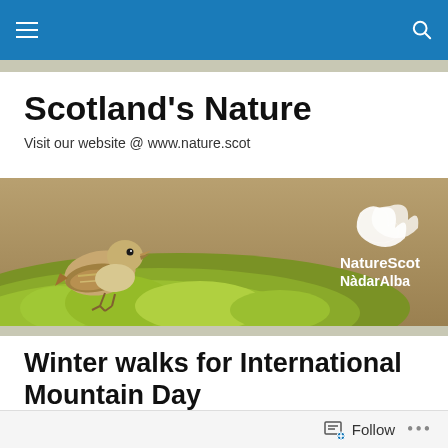Navigation bar with menu and search
Scotland's Nature
Visit our website @ www.nature.scot
[Figure (photo): Banner image of a small bird (chaffinch) perched on a mossy rock with NatureScot NàdarAlba logo on the right side against a warm golden background]
Winter walks for International Mountain Day
Posted by NatureScot
Follow button and options menu (...)